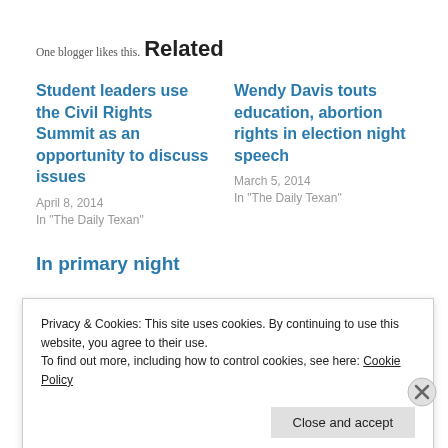One blogger likes this.
Related
Student leaders use the Civil Rights Summit as an opportunity to discuss issues
April 8, 2014
In "The Daily Texan"
Wendy Davis touts education, abortion rights in election night speech
March 5, 2014
In "The Daily Texan"
In primary night
Privacy & Cookies: This site uses cookies. By continuing to use this website, you agree to their use.
To find out more, including how to control cookies, see here: Cookie Policy
Close and accept